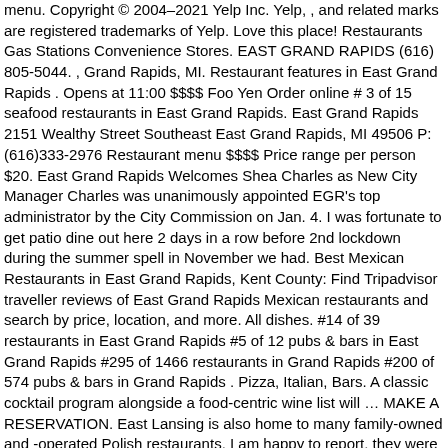menu. Copyright © 2004–2021 Yelp Inc. Yelp, , and related marks are registered trademarks of Yelp. Love this place! Restaurants Gas Stations Convenience Stores. EAST GRAND RAPIDS (616) 805-5044. , Grand Rapids, MI. Restaurant features in East Grand Rapids . Opens at 11:00 $$$$ Foo Yen Order online # 3 of 15 seafood restaurants in East Grand Rapids. East Grand Rapids 2151 Wealthy Street Southeast East Grand Rapids, MI 49506 P: (616)333-2976 Restaurant menu $$$$ Price range per person $20. East Grand Rapids Welcomes Shea Charles as New City Manager Charles was unanimously appointed EGR's top administrator by the City Commission on Jan. 4. I was fortunate to get patio dine out here 2 days in a row before 2nd lockdown during the summer spell in November we had. Best Mexican Restaurants in East Grand Rapids, Kent County: Find Tripadvisor traveller reviews of East Grand Rapids Mexican restaurants and search by price, location, and more. All dishes. #14 of 39 restaurants in East Grand Rapids #5 of 12 pubs & bars in East Grand Rapids #295 of 1466 restaurants in Grand Rapids #200 of 574 pubs & bars in Grand Rapids . Pizza, Italian, Bars. A classic cocktail program alongside a food-centric wine list will … MAKE A RESERVATION. East Lansing is also home to many family-owned and -operated Polish restaurants. I am happy to report, they were not crushed. Restaurant are only catering take out or outdoor dine in as of 11-27-2020 the weather is cold and windy but the crew is super nice and very comforting. Best Dining in East Grand Rapids, Kent County: See 694 Tripadvisor traveller reviews of 43 East Grand...